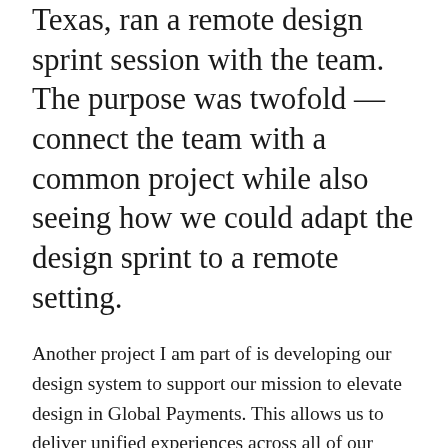recently, I, along with a colleague based in Texas, ran a remote design sprint session with the team. The purpose was twofold — connect the team with a common project while also seeing how we could adapt the design sprint to a remote setting.
Another project I am part of is developing our design system to support our mission to elevate design in Global Payments. This allows us to deliver unified experiences across all of our products, solutions, and services worldwide.
I'm also interested in what the prolonged remote working 'experiment' will mean for the future of how we work. I'm part of an initiative in our Dublin office conducting